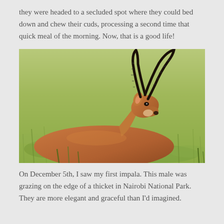they were headed to a secluded spot where they could bed down and chew their cuds, processing a second time that quick meal of the morning. Now, that is a good life!
[Figure (photo): A male impala with large curved horns resting in green grassland, photographed at Nairobi National Park.]
On December 5th, I saw my first impala. This male was grazing on the edge of a thicket in Nairobi National Park. They are more elegant and graceful than I'd imagined.